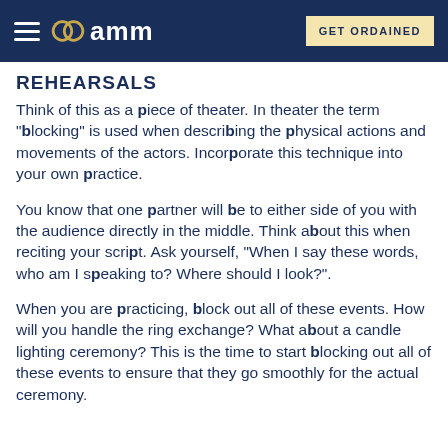AMM — GET ORDAINED
REHEARSALS
Think of this as a piece of theater. In theater the term "blocking" is used when describing the physical actions and movements of the actors. Incorporate this technique into your own practice.
You know that one partner will be to either side of you with the audience directly in the middle. Think about this when reciting your script. Ask yourself, "When I say these words, who am I speaking to? Where should I look?".
When you are practicing, block out all of these events. How will you handle the ring exchange? What about a candle lighting ceremony? This is the time to start blocking out all of these events to ensure that they go smoothly for the actual ceremony.